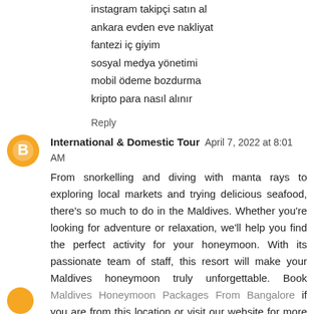instagram takipçi satın al
ankara evden eve nakliyat
fantezi iç giyim
sosyal medya yönetimi
mobil ödeme bozdurma
kripto para nasıl alınır
Reply
International & Domestic Tour  April 7, 2022 at 8:01 AM
From snorkelling and diving with manta rays to exploring local markets and trying delicious seafood, there's so much to do in the Maldives. Whether you're looking for adventure or relaxation, we'll help you find the perfect activity for your honeymoon. With its passionate team of staff, this resort will make your Maldives honeymoon truly unforgettable. Book Maldives Honeymoon Packages From Bangalore if you are from this location or visit our website for more details.
Reply